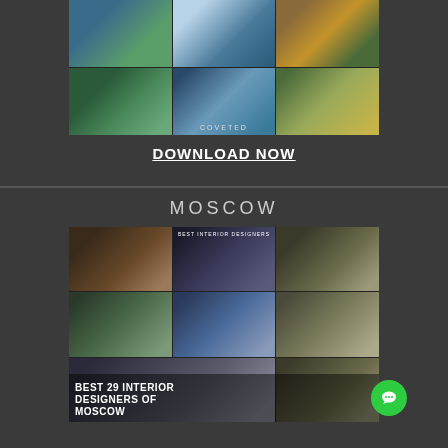[Figure (photo): Collage of city/architectural photos with COVETED watermark, 3-column 2-row grid showing palm trees, aerial city views, and glass buildings]
DOWNLOAD NOW
MOSCOW
[Figure (photo): Collage of Moscow interior design photos with 'BEST INTERIOR DESIGNERS' logo and overlay text reading 'BEST 29 INTERIOR DESIGNERS OF MOSCOW']